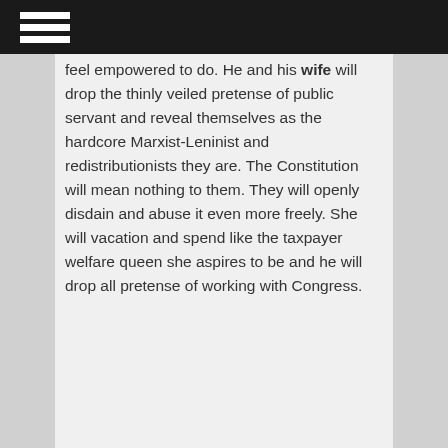feel empowered to do. He and his wife will drop the thinly veiled pretense of public servant and reveal themselves as the hardcore Marxist-Leninist and redistributionists they are. The Constitution will mean nothing to them. They will openly disdain and abuse it even more freely. She will vacation and spend like the taxpayer welfare queen she aspires to be and he will drop all pretense of working with Congress.